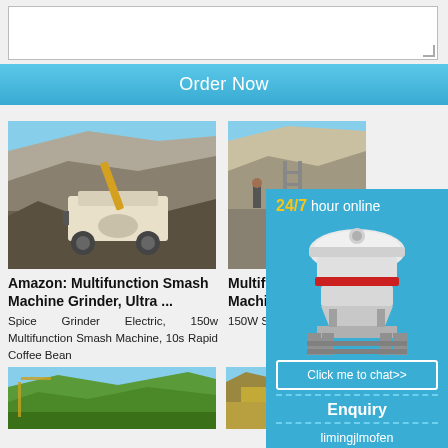[Figure (screenshot): White textarea input box at top of page]
Order Now
[Figure (photo): Amazon: Multifunction Smash Machine Grinder, Ultra ... - quarry crusher machine photo]
Amazon: Multifunction Smash Machine Grinder, Ultra ...
Spice Grinder Electric, 150w Multifunction Smash Machine, 10s Rapid Coffee Bean
[Figure (photo): Multifunction Machine Food - quarry/mining photo]
Multifunction Machine Food
150W Sm grinder,Gri Fine
[Figure (infographic): Blue overlay panel: 24/7 hour online, cone crusher machine illustration, Click me to chat>> button, Enquiry section, limingjlmofen text]
[Figure (photo): Bottom left - green quarry landscape photo]
[Figure (photo): Bottom right - yellow/brown mining equipment photo]